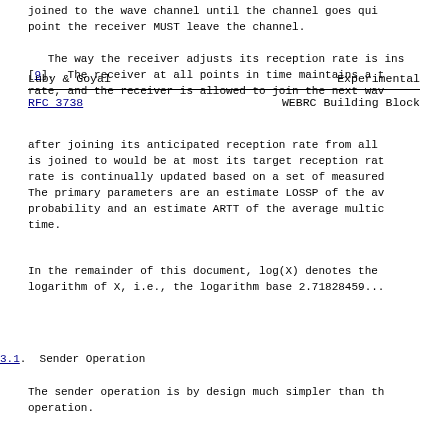joined to the wave channel until the channel goes qui... point the receiver MUST leave the channel.
The way the receiver adjusts its reception rate is ins... [9].  The receiver at all points in time maintains a t... rate, and the receiver is allowed to join the next wav...
Luby & Goyal                    Experimental
RFC 3738                    WEBRC Building Block
after joining its anticipated reception rate from all ... is joined to would be at most its target reception rat... rate is continually updated based on a set of measured... The primary parameters are an estimate LOSSP of the av... probability and an estimate ARTT of the average multic... time.
In the remainder of this document, log(X) denotes the... logarithm of X, i.e., the logarithm base 2.71828459...
3.1.  Sender Operation
The sender operation is by design much simpler than th... operation.